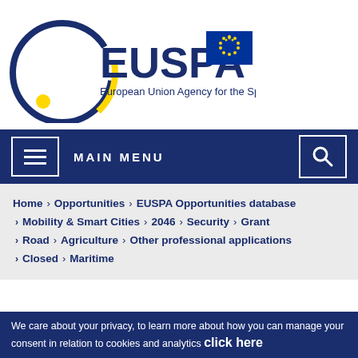[Figure (logo): EUSPA – European Union Agency for the Space Programme logo with circular blue/yellow emblem and EU flag]
≡  MAIN MENU  🔍
Home > Opportunities > EUSPA Opportunities database > Mobility & Smart Cities > 2046 > Security > Grant > Road > Agriculture > Other professional applications > Closed > Maritime
We care about your privacy, to learn more about how you can manage your consent in relation to cookies and analytics click here